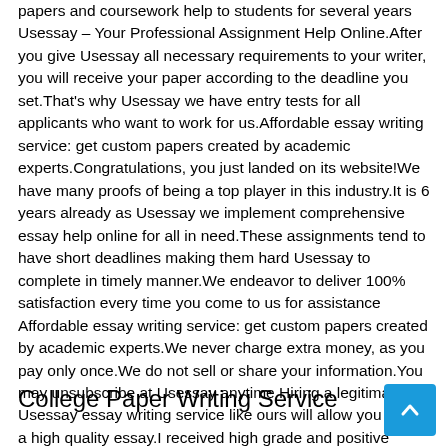papers and coursework help to students for several years Usessay – Your Professional Assignment Help Online.After you give Usessay all necessary requirements to your writer, you will receive your paper according to the deadline you set.That's why Usessay we have entry tests for all applicants who want to work for us.Affordable essay writing service: get custom papers created by academic experts.Congratulations, you just landed on its website!We have many proofs of being a top player in this industry.It is 6 years already as Usessay we implement comprehensive essay help online for all in need.These assignments tend to have short deadlines making them hard Usessay to complete in timely manner.We endeavor to deliver 100% satisfaction every time you come to us for assistance Affordable essay writing service: get custom papers created by academic experts.We never charge extra money, as you pay only once.We do not sell or share your information.You may unsubscribe at Usessay anytime Hiring a legitimate Usessay essay writing service like ours will allow you toget a high quality essay.I received high grade and positive feedback from my instructor.
College Paper Writing Service